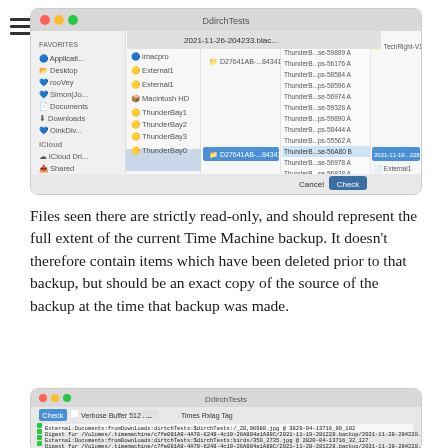[Figure (screenshot): macOS Finder window showing file browser with ThunderBay drives and files listed, with a date folder selected showing ThunderB files, and a blue 'Check' button visible at bottom right.]
Files seen there are strictly read-only, and should represent the full extent of the current Time Machine backup. It doesn't therefore contain items which have been deleted prior to that backup, but should be an exact copy of the source of the backup at the time that backup was made.
[Figure (screenshot): DdirchTests terminal/application window showing Check button, Verbose, Buffer, GB, KB options, Times, Rxlag, Tag columns, and several lines of file digest output text.]